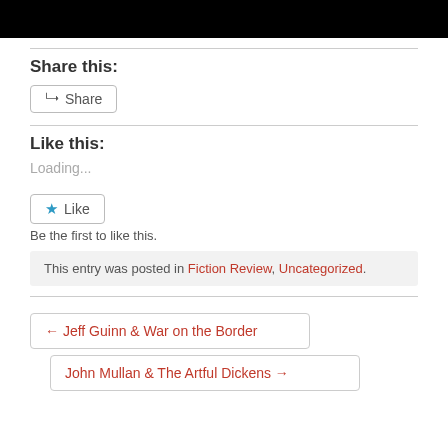[Figure (other): Black bar image at the top of the page]
Share this:
Share button
Like this:
Loading...
Like button
Be the first to like this.
This entry was posted in Fiction Review, Uncategorized.
← Jeff Guinn & War on the Border
John Mullan & The Artful Dickens →